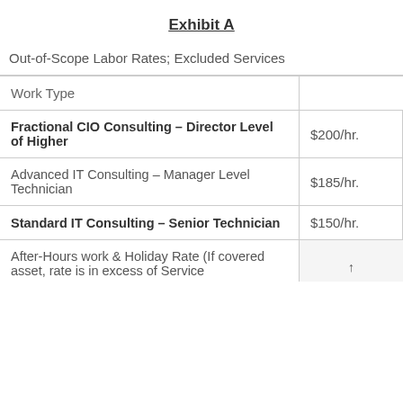Exhibit A
Out-of-Scope Labor Rates; Excluded Services
| Work Type |  |
| --- | --- |
| Fractional CIO Consulting – Director Level of Higher | $200/hr. |
| Advanced IT Consulting – Manager Level Technician | $185/hr. |
| Standard IT Consulting – Senior Technician | $150/hr. |
| After-Hours work & Holiday Rate (If covered asset, rate is in excess of Service | ↑ |